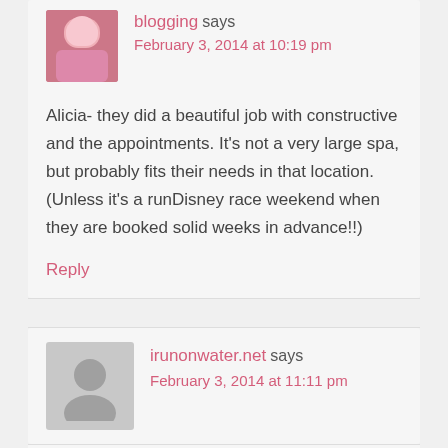blogging says
February 3, 2014 at 10:19 pm
Alicia- they did a beautiful job with constructive and the appointments. It's not a very large spa, but probably fits their needs in that location. (Unless it's a runDisney race weekend when they are booked solid weeks in advance!!)
Reply
irunonwater.net says
February 3, 2014 at 11:11 pm